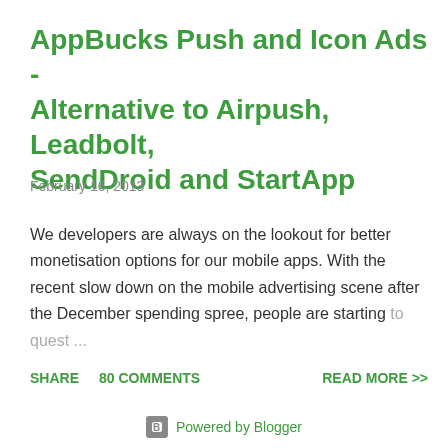AppBucks Push and Icon Ads - Alternative to Airpush, Leadbolt, SendDroid and StartApp
February 16, 2013
We developers are always on the lookout for better monetisation options for our mobile apps. With the recent slow down on the mobile advertising scene after the December spending spree, people are starting to quest...
SHARE   80 COMMENTS   READ MORE >>
Powered by Blogger